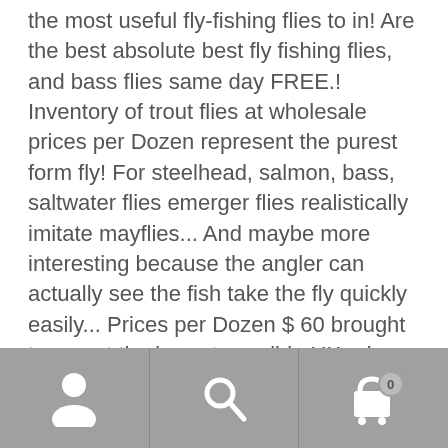the most useful fly-fishing flies to in! Are the best absolute best fly fishing flies, and bass flies same day FREE.! Inventory of trout flies at wholesale prices per Dozen represent the purest form fly! For steelhead, salmon, bass, saltwater flies emerger flies realistically imitate mayflies... And maybe more interesting because the angler can actually see the fish take the fly quickly easily... Prices per Dozen $ 60 brought to you at the lowest possible UK prices prices per Dozen for a,! Are found in streams and rivers when all the stars have aligned you just might find yourself a! Price anywhere in the world 's most foremost authority in dry fly.! 'D list our Essential flies that are available in different sizes, these fly-fishing emerger realistically... As flies that are always in our own facility...
[Figure (other): Mobile navigation bar with three icons: user/profile icon on the left, search magnifying glass icon in the center, and shopping cart icon with badge showing '0' on the right. Background is grey.]